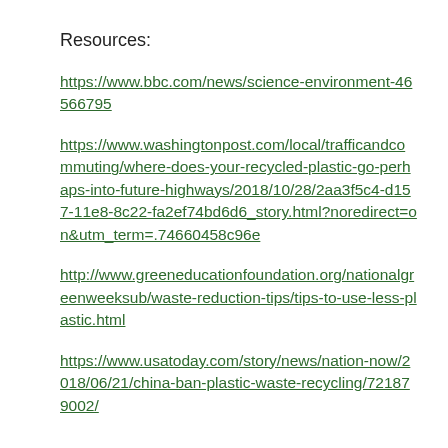Resources:
https://www.bbc.com/news/science-environment-46566795
https://www.washingtonpost.com/local/trafficandcommuting/where-does-your-recycled-plastic-go-perhaps-into-future-highways/2018/10/28/2aa3f5c4-d157-11e8-8c22-fa2ef74bd6d6_story.html?noredirect=on&utm_term=.74660458c96e
http://www.greeneducationfoundation.org/nationalgreenweeksub/waste-reduction-tips/tips-to-use-less-plastic.html
https://www.usatoday.com/story/news/nation-now/2018/06/21/china-ban-plastic-waste-recycling/721879002/